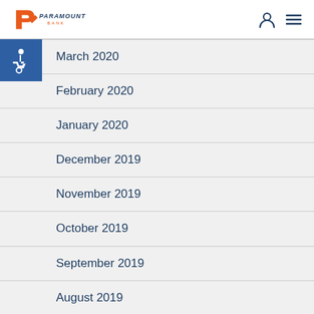Paramount Bank
March 2020
February 2020
January 2020
December 2019
November 2019
October 2019
September 2019
August 2019
July 2019